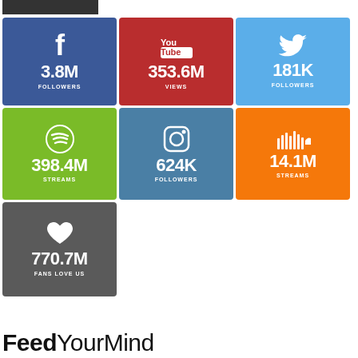[Figure (infographic): Social media stats infographic with 7 tiles: Facebook 3.8M Followers, YouTube 353.6M Views, Twitter 181K Followers, Spotify 398.4M Streams, Instagram 624K Followers, SoundCloud 14.1M Streams, Heart 770.7M Fans Love Us]
FeedYourMind